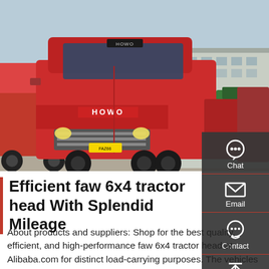[Figure (photo): Multiple red HOWO brand heavy-duty tractor trucks parked in a yard next to an industrial warehouse building. The prominent truck in the foreground displays the HOWO logo on its hood.]
Efficient faw 6x4 tractor head With Splendid Mileage
About products and suppliers: Shop for the best quality, efficient, and high-performance faw 6x4 tractor head at Alibaba.com for distinct load-carrying purposes. The vehicles are equipped with the latest